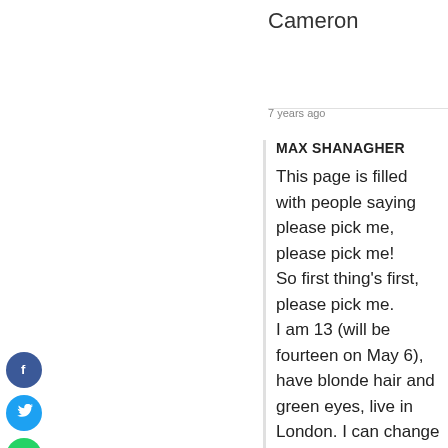Cameron
7 years ago
MAX SHANAGHER
This page is filled with people saying please pick me, please pick me!
So first thing's first, please pick me.
I am 13 (will be fourteen on May 6), have blonde hair and green eyes, live in London. I can change my hair colour (or color in America) if necessary. I am 5ft 9 and weigh 50 kilos.
I have watched all of the MCU